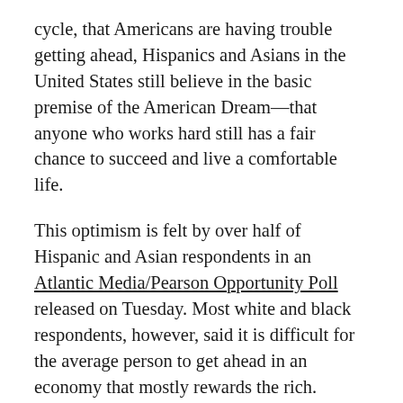cycle, that Americans are having trouble getting ahead, Hispanics and Asians in the United States still believe in the basic premise of the American Dream—that anyone who works hard still has a fair chance to succeed and live a comfortable life.
This optimism is felt by over half of Hispanic and Asian respondents in an Atlantic Media/Pearson Opportunity Poll released on Tuesday. Most white and black respondents, however, said it is difficult for the average person to get ahead in an economy that mostly rewards the rich. Across all of the demographic groups polled, just 44 percent of respondents said that hard work can lead to a fair shot at success.